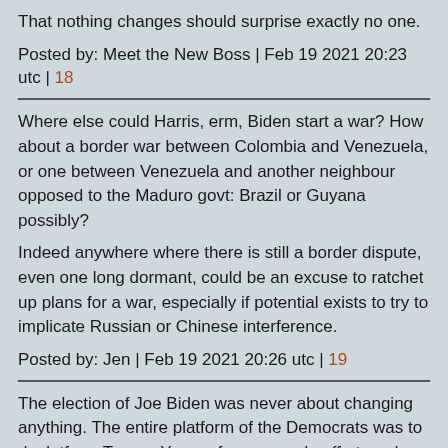That nothing changes should surprise exactly no one.
Posted by: Meet the New Boss | Feb 19 2021 20:23 utc | 18
Where else could Harris, erm, Biden start a war? How about a border war between Colombia and Venezuela, or one between Venezuela and another neighbour opposed to the Maduro govt: Brazil or Guyana possibly?

Indeed anywhere where there is still a border dispute, even one long dormant, could be an excuse to ratchet up plans for a war, especially if potential exists to try to implicate Russian or Chinese interference.
Posted by: Jen | Feb 19 2021 20:26 utc | 19
The election of Joe Biden was never about changing anything. The entire platform of the Democrats was to deplatform Trump. Years of propaganda effort, and finally a conspiracy of tech and media to defeat the deranged moron, uh stable genius, by the short hairs. And now that it's been 'mission accomplished' it's easily revealed the Democrats have no plan but to continue the sellout to corporate supremacy and American Exceptionalism; for-profit empire.

America is Back (cough-cough) goes the cry from Bidenland